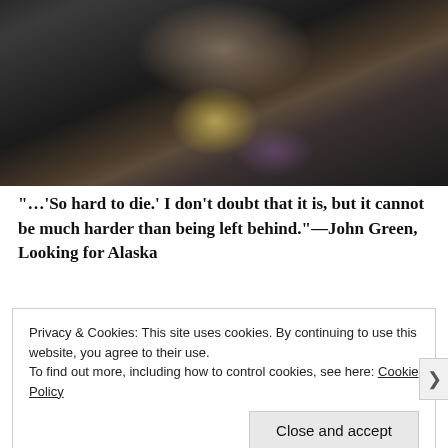[Figure (photo): A dark photograph showing two people hugging or embracing. One person is wearing a dark Nike jacket. There is a warm yellow-green glow in the center of the image, possibly from a phone or light source. The image is mostly dark with warm tones.]
“…‘So hard to die.’ I don’t doubt that it is, but it cannot be much harder than being left behind.”—John Green, Looking for Alaska
Privacy & Cookies: This site uses cookies. By continuing to use this website, you agree to their use.
To find out more, including how to control cookies, see here: Cookie Policy
Close and accept